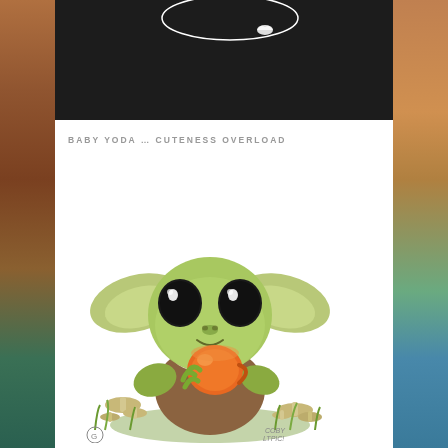[Figure (illustration): Dark background image with partial white circular/crescent shape and silhouettes at top of page]
BABY YODA … CUTENESS OVERLOAD
[Figure (illustration): Cartoon illustration of Baby Yoda character holding an orange glowing orb/cup, sitting among mushrooms and grass, with large green ears and big dark eyes. Artist signature reads 'COBY LTPIC' or similar at bottom right.]